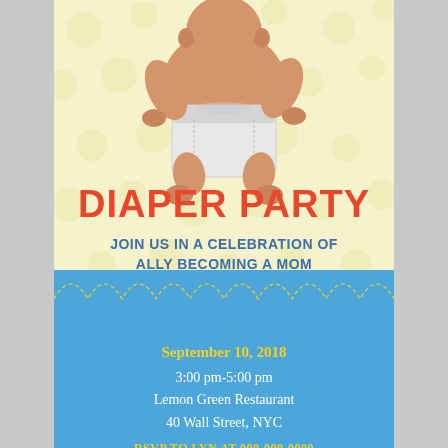[Figure (illustration): Illustration of a baby crawling from behind, wearing a white diaper, on a pale yellow polka dot background]
DIAPER PARTY
JOIN US IN A CELEBRATION OF ALLY BECOMING A MOM
September 10, 2018
3:00 pm-5:00 pm
Lemon Green Restaurant
40 Wall Street, NYC
RSVP TO LYN AT 000-000-0000